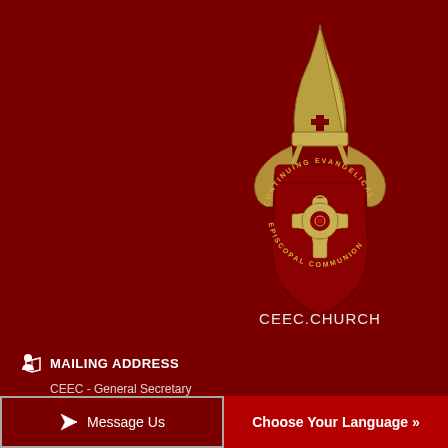[Figure (logo): CEEC (Continuing Evangelical Episcopal Communion) heraldic emblem: a bishop's mitre above a golden Celtic cross on a red shield with scrollwork and the text 'Continuing Evangelical Episcopal Communion' around the border]
CEEC.CHURCH
MAILING ADDRESS
CEEC - General Secretary
124 Bedstone Drive
Saint Johns, FL 32259
Message Us
Choose Your Language »